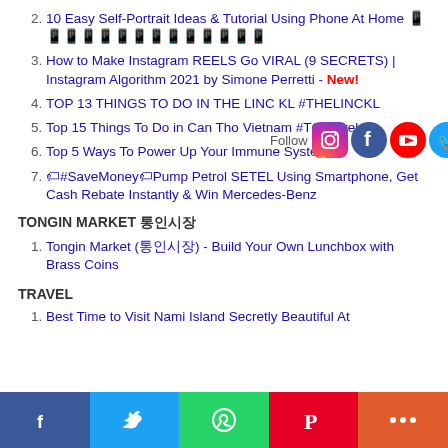2. 10 Easy Self-Portrait Ideas & Tutorial Using Phone At Home 📱📱📱📱📱📱📱📱📱📱📱📱📱📱
3. How to Make Instagram REELS Go VIRAL (9 SECRETS) | Instagram Algorithm 2021 by Simone Perretti - New!
4. TOP 13 THINGS TO DO IN THE LINC KL #THELINCKL
5. Top 15 Things To Do in Can Tho Vietnam #TCTravel
6. Top 5 Ways To Power Up Your Immune System
7. 🏷#SaveMoney🏷Pump Petrol SETEL Using Smartphone, Get Cash Rebate Instantly & Win Mercedes-Benz
TONGIN MARKET 통인시장
1. Tongin Market (통인시장) - Build Your Own Lunchbox with Brass Coins
TRAVEL
1. Best Time to Visit Nami Island Secretly Beautiful At
[Figure (infographic): Social media follow icons overlay: Instagram, Facebook, YouTube, Twitter, Flickr, Pinterest, Tumblr, RSS feed icons in a row with Follow text]